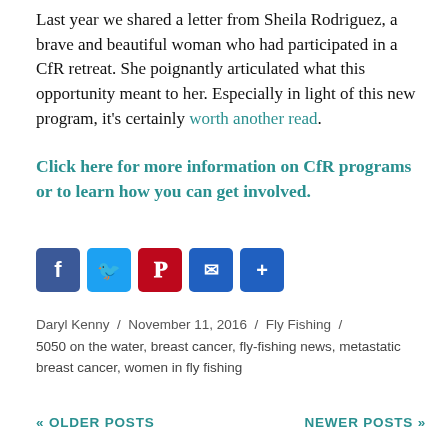Last year we shared a letter from Sheila Rodriguez, a brave and beautiful woman who had participated in a CfR retreat. She poignantly articulated what this opportunity meant to her. Especially in light of this new program, it's certainly worth another read.
Click here for more information on CfR programs or to learn how you can get involved.
[Figure (other): Social sharing icons: Facebook, Twitter, Pinterest, Email, Share]
Daryl Kenny / November 11, 2016 / Fly Fishing / 5050 on the water, breast cancer, fly-fishing news, metastatic breast cancer, women in fly fishing
« OLDER POSTS    NEWER POSTS »